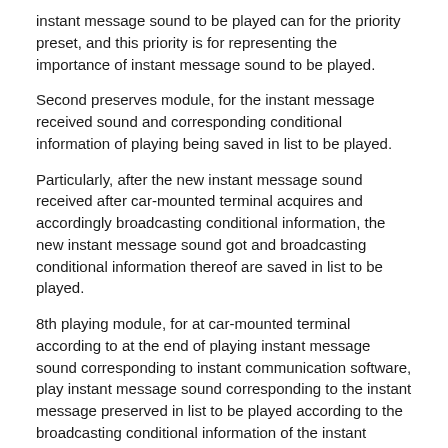instant message sound to be played can for the priority preset, and this priority is for representing the importance of instant message sound to be played.
Second preserves module, for the instant message received sound and corresponding conditional information of playing being saved in list to be played.
Particularly, after the new instant message sound received after car-mounted terminal acquires and accordingly broadcasting conditional information, the new instant message sound got and broadcasting conditional information thereof are saved in list to be played.
8th playing module, for at car-mounted terminal according to at the end of playing instant message sound corresponding to instant communication software, play instant message sound corresponding to the instant message preserved in list to be played according to the broadcasting conditional information of the instant message sound preserved in list to be played.
Alternatively, after the current instant message sound play plays, according to the broadcasting condition of each